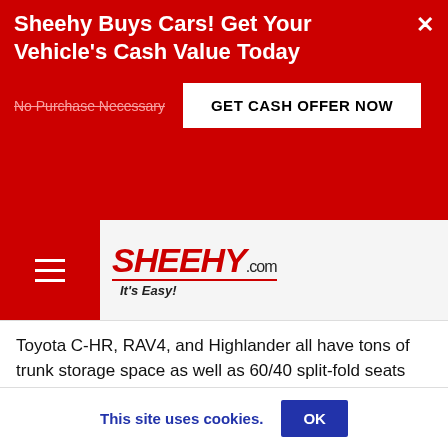Sheehy Buys Cars! Get Your Vehicle's Cash Value Today
No Purchase Necessary
GET CASH OFFER NOW
[Figure (logo): Sheehy.com It's Easy! logo with red hamburger menu]
Toyota C-HR, RAV4, and Highlander all have tons of trunk storage space as well as 60/40 split-fold seats that allow for even more cargo space. Next time you want to go for a bike ride on the Capital Trail in Richmond or go camping in the national parks in Northern Virginia, you can rest assured that your Toyota C-HR, RAV4, or Highlander has the capacity to hold all your gear. You can't go wrong with a Toyota SUV, no matter which size or model you choose. They're one of the most reliable SUVs on the road and guarantee a safe
This site uses cookies.
OK